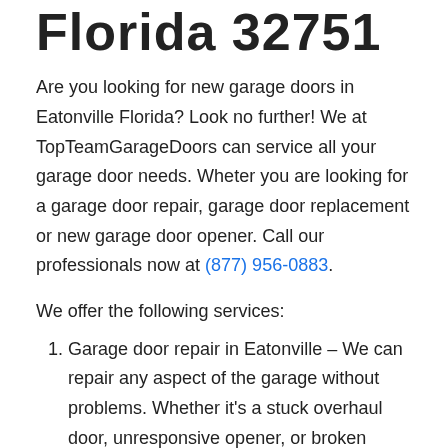Florida 32751
Are you looking for new garage doors in Eatonville Florida? Look no further! We at TopTeamGarageDoors can service all your garage door needs. Wheter you are looking for a garage door repair, garage door replacement or new garage door opener. Call our professionals now at (877) 956-0883.
We offer the following services:
Garage door repair in Eatonville – We can repair any aspect of the garage without problems. Whether it's a stuck overhaul door, unresponsive opener, or broken sealant. We will quickly help to diagnose